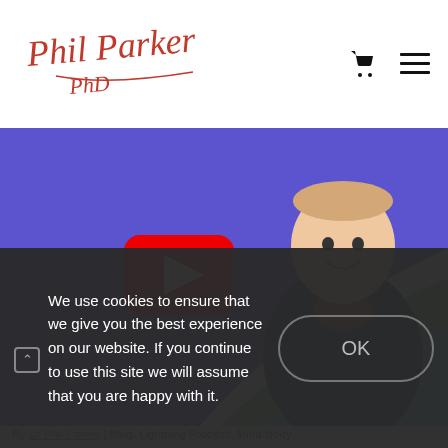Phil Parker PhD
[Figure (screenshot): Website screenshot showing Phil Parker PhD logo with handwritten red signature style text. Navigation icons (cart and hamburger menu) on the right.]
[Figure (photo): YouTube video thumbnail with purple/blue background, white and green swoosh design, YouTube play button overlay, and a smiling man in a dark blazer and red shirt on the right side.]
By Dr Phil Parker | Blog, Lightning Process, Mind-Body
We use cookies to ensure that we give you the best experience on our website. If you continue to use this site we will assume that you are happy with it.